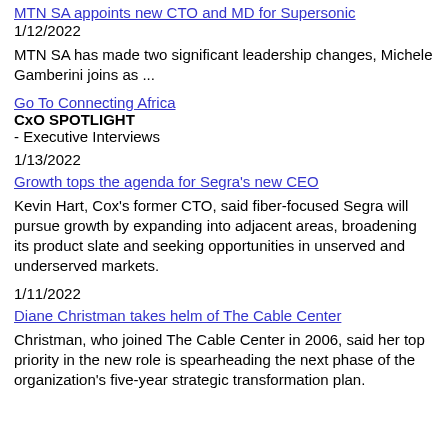MTN SA appoints new CTO and MD for Supersonic
1/12/2022
MTN SA has made two significant leadership changes, Michele Gamberini joins as ...
Go To Connecting Africa
CxO SPOTLIGHT
- Executive Interviews
1/13/2022
Growth tops the agenda for Segra's new CEO
Kevin Hart, Cox's former CTO, said fiber-focused Segra will pursue growth by expanding into adjacent areas, broadening its product slate and seeking opportunities in unserved and underserved markets.
1/11/2022
Diane Christman takes helm of The Cable Center
Christman, who joined The Cable Center in 2006, said her top priority in the new role is spearheading the next phase of the organization's five-year strategic transformation plan.